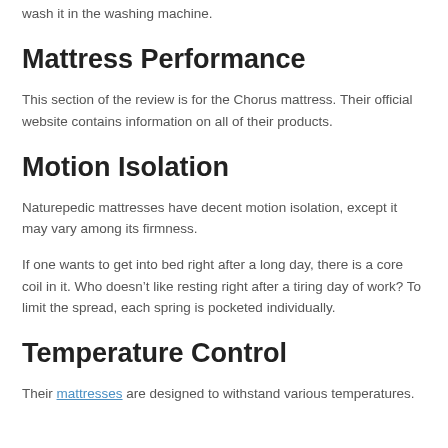wash it in the washing machine.
Mattress Performance
This section of the review is for the Chorus mattress. Their official website contains information on all of their products.
Motion Isolation
Naturepedic mattresses have decent motion isolation, except it may vary among its firmness.
If one wants to get into bed right after a long day, there is a core coil in it. Who doesn’t like resting right after a tiring day of work? To limit the spread, each spring is pocketed individually.
Temperature Control
Their mattresses are designed to withstand various temperatures.